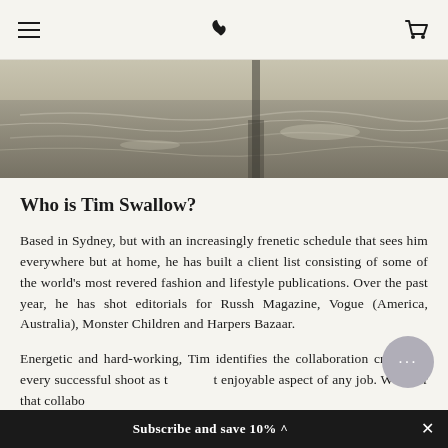Navigation bar with hamburger menu, phone icon, and cart icon
[Figure (photo): Aerial or close-up view of water with rippling waves and a shadowed reflection, muted sepia-grey tones]
Who is Tim Swallow?
Based in Sydney, but with an increasingly frenetic schedule that sees him everywhere but at home, he has built a client list consisting of some of the world's most revered fashion and lifestyle publications. Over the past year, he has shot editorials for Russh Magazine, Vogue (America, Australia), Monster Children and Harpers Bazaar.
Energetic and hard-working, Tim identifies the collaboration crucial to every successful shoot as the most enjoyable aspect of any job. Whether that collabo...
Subscribe and save 10% ^